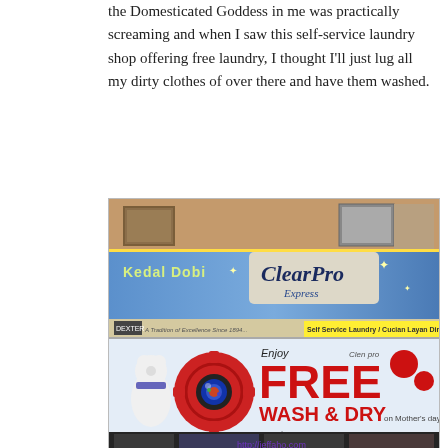the Domesticated Goddess in me was practically screaming and when I saw this self-service laundry shop offering free laundry, I thought I'll just lug all my dirty clothes of over there and have them washed.
[Figure (photo): Photo of a Cleanpro Express self-service laundry shop (Kedai Dobi) with a blue signboard and a promotional banner advertising 'Enjoy FREE WASH & DRY on Mother's Day' with a polar bear mascot and red gear logo. Website www.cleanproexpress.com shown. URL watermark http://jeffaho.com visible.]
Went there with a friend and her boyfriend. We were actually quite excited about the offer and looking forward to wash all of